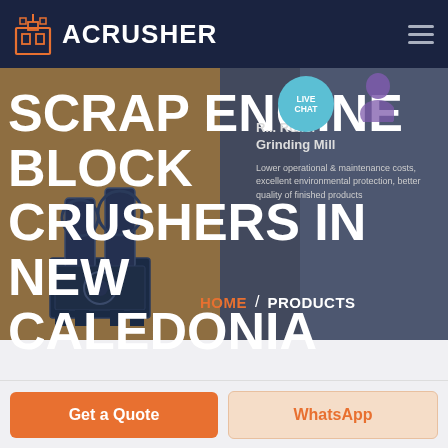ACRUSHER
SCRAP ENGINE BLOCK CRUSHERS IN NEW CALEDONIA
LIVE CHAT
Roller Grinding Mill
Lower operational & maintenance costs, excellent environmental protection, better quality of finished products
HOME / PRODUCTS
Get a Quote
WhatsApp